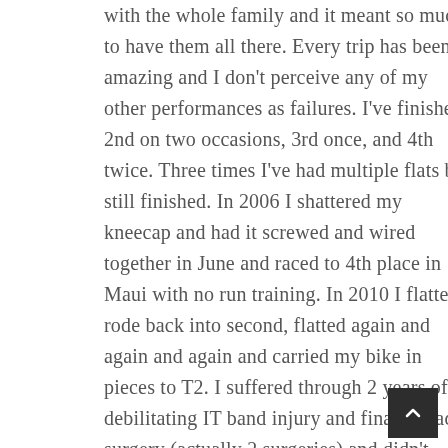with the whole family and it meant so much to have them all there.  Every trip has been amazing and I don't perceive any of my other performances as failures.  I've finished 2nd on two occasions, 3rd once, and 4th twice. Three times I've had multiple flats but still finished.  In 2006 I shattered my kneecap and had it screwed and wired together in June and raced to 4th place in Maui with no run training.  In 2010 I flatted, rode back into second, flatted again and again and again and carried my bike in pieces to T2.  I suffered through 2 years of a debilitating IT band injury and finallly had surgery (actually 2 surgeries) and didn't know if I could